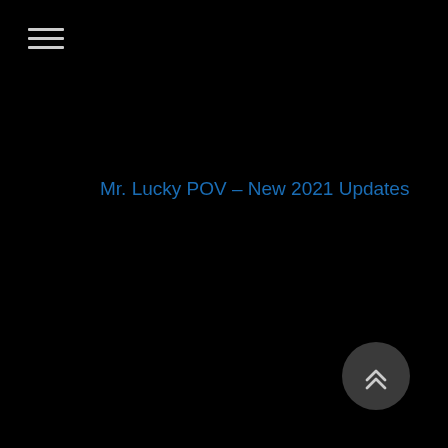[Figure (other): Hamburger menu icon — three horizontal white lines stacked vertically in the top-left corner]
Mr. Lucky POV – New 2021 Updates
[Figure (other): Scroll-to-top button — dark grey circle with two upward-pointing chevrons in white, positioned in the bottom-right corner]